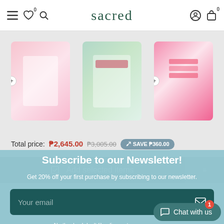sacred
[Figure (screenshot): Three product images in a horizontal strip: pink product, green/white product, pink product with text]
Total price: ₱2,645.00 ₱3,005.00 SAVE ₱360.00
Add selected items
Subscribe to our Newsletter!
Get 20% off your first purchase by subscribing to our newsletter.
Your email
No thanks, I don't like discounts
Chat with us